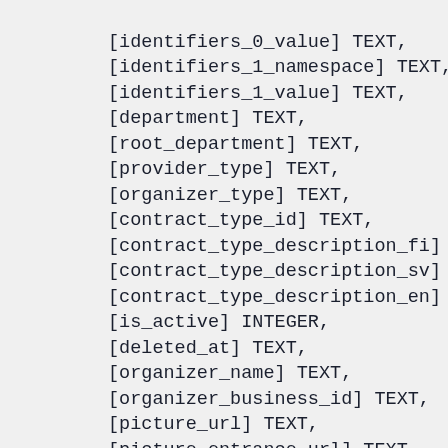[identifiers_0_value] TEXT,
[identifiers_1_namespace] TEXT,
[identifiers_1_value] TEXT,
[department] TEXT,
[root_department] TEXT,
[provider_type] TEXT,
[organizer_type] TEXT,
[contract_type_id] TEXT,
[contract_type_description_fi] TEXT,
[contract_type_description_sv] TEXT,
[contract_type_description_en] TEXT,
[is_active] INTEGER,
[deleted_at] TEXT,
[organizer_name] TEXT,
[organizer_business_id] TEXT,
[picture_url] TEXT,
[picture_entrance_url] TEXT,
[streetview_entrance_url] TEXT,
[description_fi] TEXT,